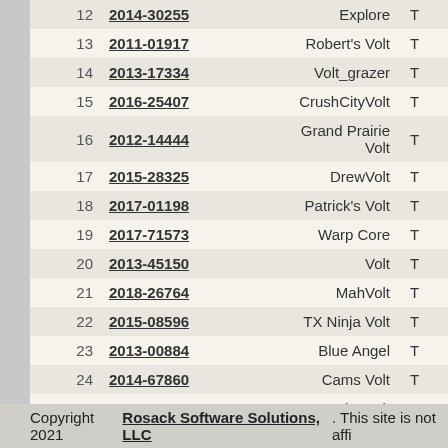| # | ID | Name | State |
| --- | --- | --- | --- |
| 12 | 2014-30255 | Explore | TX |
| 13 | 2011-01917 | Robert's Volt | TX |
| 14 | 2013-17334 | Volt_grazer | TX |
| 15 | 2016-25407 | CrushCityVolt | TX |
| 16 | 2012-14444 | Grand Prairie Volt | TX |
| 17 | 2015-28325 | DrewVolt | TX |
| 18 | 2017-01198 | Patrick's Volt | TX |
| 19 | 2017-71573 | Warp Core | TX |
| 20 | 2013-45150 | Volt | TX |
| 21 | 2018-26764 | MahVolt | TX |
| 22 | 2015-08596 | TX Ninja Volt | TX |
| 23 | 2013-00884 | Blue Angel | TX |
| 24 | 2014-67860 | Cams Volt | TX |
| 25 | 2012-17684 | BlueVolt | TX |
Showing 1 to 25 of 42 entries
Copyright 2021 Rosack Software Solutions, LLC. This site is not affi...